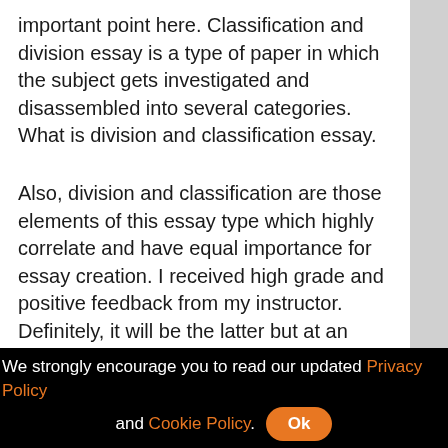important point here. Classification and division essay is a type of paper in which the subject gets investigated and disassembled into several categories. What is division and classification essay.
Also, division and classification are those elements of this essay type which highly correlate and have equal importance for essay creation. I received high grade and positive feedback from my instructor. Definitely, it will be the latter but at an affordable price.
In a turbulent kind of problem because they are not able to complete their term paper, thesis, and assignments by themselves. Classification and division is a rhetorical style that, in essay format, takes a whole and splits it up into parts and then places the divided
We strongly encourage you to read our updated Privacy Policy and Cookie Policy. Ok